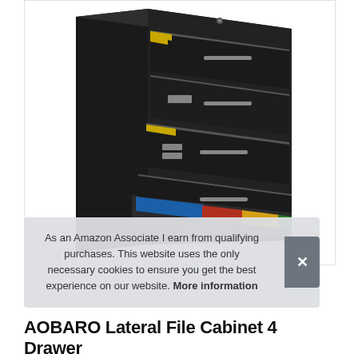[Figure (photo): A black lateral file cabinet with 4 drawers partially open, showing colorful hanging file folders inside. The cabinet is photographed at a slight angle against a white background.]
As an Amazon Associate I earn from qualifying purchases. This website uses the only necessary cookies to ensure you get the best experience on our website. More information
AOBARO Lateral File Cabinet 4 Drawer